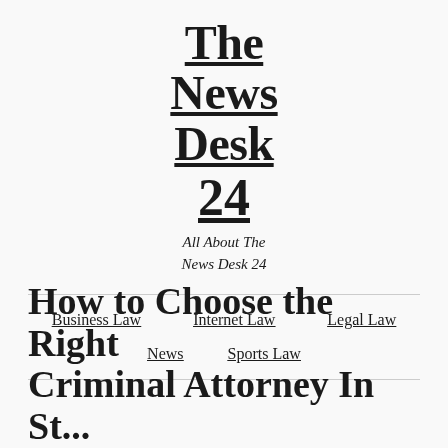The News Desk 24
All About The News Desk 24
Business Law
Internet Law
Legal Law
News
Sports Law
How to Choose the Right Criminal Attorney In St...